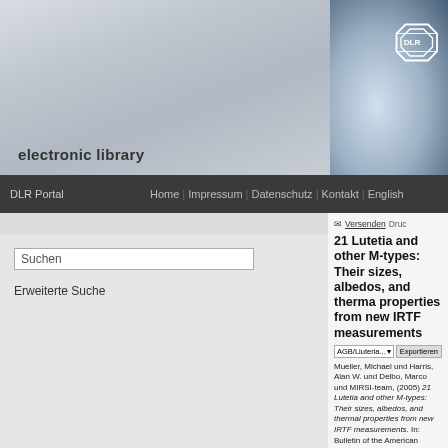[Figure (photo): DLR Electronic Library website header with spacecraft/satellite photo on right and metallic gradient on left. DLR logo visible top right.]
electronic library
DLR Portal | Home | Impressum | Datenschutz | Kontakt | English
Suchen
Erweiterte Suche
Versenden   Druc
21 Lutetia and other M-types: Their sizes, albedos, and thermal properties from new IRTF measurements
AGB/Liuteria... Exportieren
Mueller, Michael und Harris, Alan W. und Delbo, Marco und MIRSI-team, (2005) 21 Lutetia and other M-types: Their sizes, albedos, and thermal properties from new IRTF measurements. In: Bulletin of the American Astronomical Society, 37, Seite 627. DPS meeting 2005, 2005-09-04 - 2005-09-09, Cambridge (GB).
Dieses Archiv kann nicht den Volltext zur Verfügung steller
Offizielle URL:
http://www.aas.org/publications/baas/v37n3/dps2005/486.
Kurzfassung